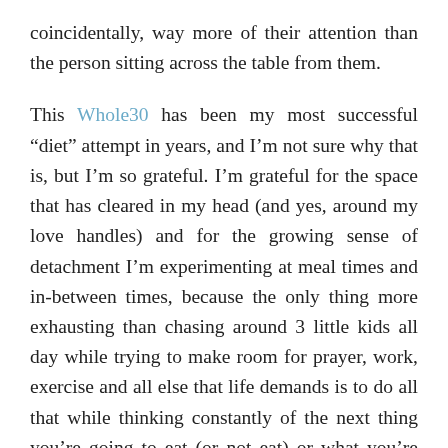coincidentally, way more of their attention than the person sitting across the table from them.
This Whole30 has been my most successful “diet” attempt in years, and I’m not sure why that is, but I’m so grateful. I’m grateful for the space that has cleared in my head (and yes, around my love handles) and for the growing sense of detachment I’m experimenting at meal times and in-between times, because the only thing more exhausting than chasing around 3 little kids all day while trying to make room for prayer, work, exercise and all else that life demands is to do all that while thinking constantly of the next thing you’re going to eat (or not eat) or what you’re going to treat yourself with once bedtime rolls around because it was a hard day and you earned it and you ran 3 miles, after all.
With the exception of the mileage logged, none of those